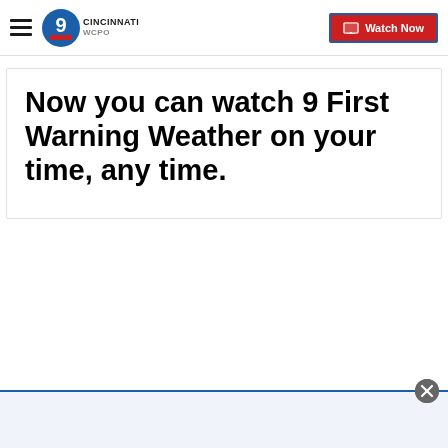WCPO 9 Cincinnati — Watch Now
Now you can watch 9 First Warning Weather on your time, any time.
[Figure (screenshot): Bottom advertisement bar with close button and blue top border]